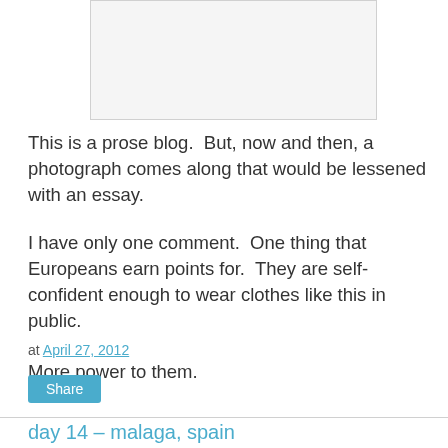[Figure (photo): Blank/white photo placeholder image with light gray border]
This is a prose blog.  But, now and then, a photograph comes along that would be lessened with an essay.
I have only one comment.  One thing that Europeans earn points for.  They are self-confident enough to wear clothes like this in public.
More power to them.
at April 27, 2012
Share
day 14 – malaga, spain